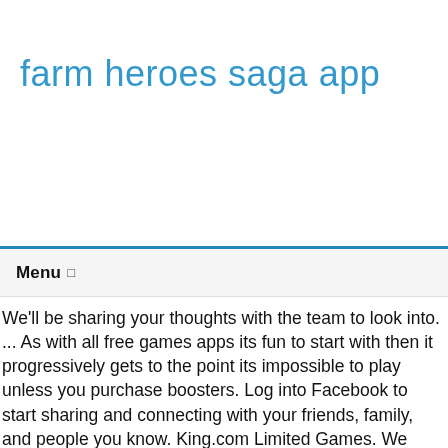farm heroes saga app
Menu ↓
We'll be sharing your thoughts with the team to look into. ... As with all free games apps its fun to start with then it progressively gets to the point its impossible to play unless you purchase boosters. Log into Facebook to start sharing and connecting with your friends, family, and people you know. King.com Limited Games. We have developed more than 200 fun ... Helpful . Woo! In diesem süchtig machenden Spiel